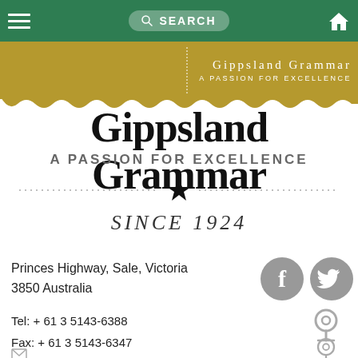[Figure (screenshot): Navigation bar with hamburger menu, search bar, and home icon on green background]
[Figure (screenshot): Gold banner with Gippsland Grammar school name and tagline in white text]
Gippsland Grammar
A PASSION FOR EXCELLENCE
SINCE 1924
Princes Highway, Sale, Victoria
3850 Australia
Tel:  + 61 3 5143-6388
Fax:  + 61 3 5143-6347
Email:
gippslandgrammar@gippslandgrammar.vic.edu.au
[Figure (illustration): Social media icons: Facebook and Twitter circles in grey]
[Figure (illustration): Map pin location icon in grey]
[Figure (illustration): Map pin location icon in grey (second)]